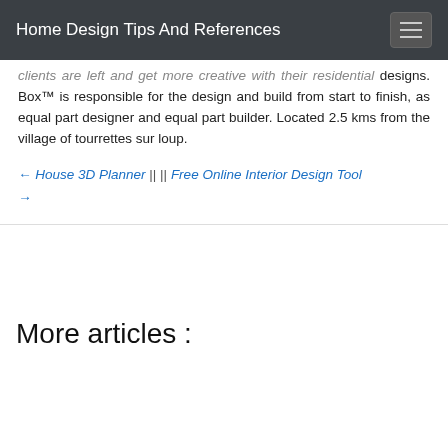Home Design Tips And References
clients are left and get more creative with their residential designs. Box™ is responsible for the design and build from start to finish, as equal part designer and equal part builder. Located 2.5 kms from the village of tourrettes sur loup.
← House 3D Planner || || Free Online Interior Design Tool →
More articles :